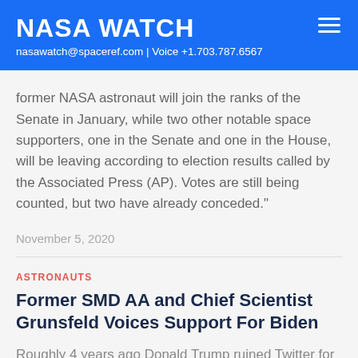NASA WATCH
nasawatch@spaceref.com | Voice +1.703.787.6567
former NASA astronaut will join the ranks of the Senate in January, while two other notable space supporters, one in the Senate and one in the House, will be leaving according to election results called by the Associated Press (AP). Votes are still being counted, but two have already conceded."
November 5, 2020
ASTRONAUTS
Former SMD AA and Chief Scientist Grunsfeld Voices Support For Biden
Roughly 4 years ago Donald Trump ruined Twitter for me. His lies and misleading statements have become his...